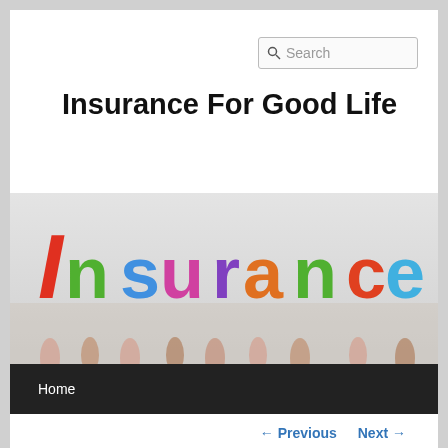Search
Insurance For Good Life
[Figure (photo): People holding up colorful letters spelling 'Insurance' against a white background, with multiple hands raised]
Home
← Previous   Next →
What Does Business